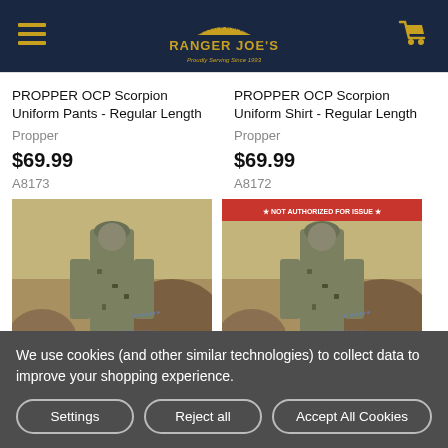Ranger Joe's
PROPPER OCP Scorpion Uniform Pants - Regular Length
Propper
$69.99
A8173
PROPPER OCP Scorpion Uniform Shirt - Regular Length
Propper
$69.99
A8172
[Figure (photo): Soldier wearing OCP Scorpion camouflage uniform pants, standing outdoors against rocky terrain.]
[Figure (photo): Soldier wearing OCP Scorpion camouflage uniform shirt, standing outdoors against rocky terrain. Red text banner visible at top of image.]
We use cookies (and other similar technologies) to collect data to improve your shopping experience.
Settings | Reject all | Accept All Cookies